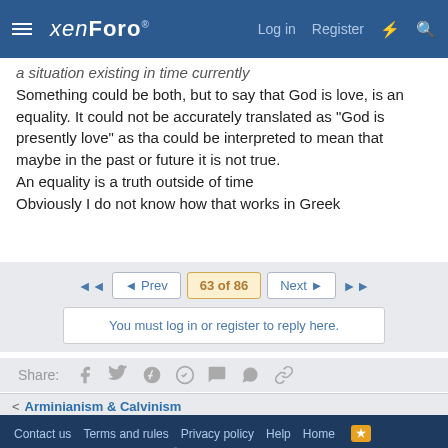xenForo | Log in | Register
a situation existing in time currently
Something could be both, but to say that God is love, is an equality. It could not be accurately translated as "God is presently love" as tha could be interpreted to mean that maybe in the past or future it is not true.
An equality is a truth outside of time
Obviously I do not know how that works in Greek
◄◄  ◄ Prev  63 of 86  Next ►  ►►
You must log in or register to reply here.
Share:
< Arminianism & Calvinism
Contact us  Terms and rules  Privacy policy  Help  Home
Community platform by XenForo® © 2010-2021 XenForo Ltd.